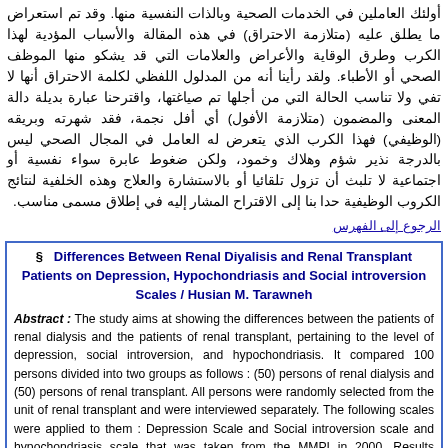أولئك العاملين في الخدمات الصحية وبالذات النفسية منها. وقد تم استعراض ما يطلق عليه (متلازمة الاحتراق) في هذه المقالة والأسباب المؤدية لهذا الكرب وطرق الوقاية والأعراض والعلامات التي قد يشكو منها الموظف الصحي أو الأطباء. ولقد رأينا أنه من المدلول اللفظي لكلمة الاحتراق أنها لا تفي ولا تناسب الحالة التي من أجلها تم صياغتها، واقترحنا عبارة بديلة دالة المعنى والمضمون (متلازمة الأفول) أي أفل نجمة، فقد شهرته وبريقه (الوظيفي) فهذا الكرب الذي يتعرض له العامل في المجال الصحي ليس بالدرجة نذير شؤم وهلاك وخمود، ولكن ضغوط عابرة سواء نفسية أو اجتماعية لا تلبث أن تزول تلقائيا أو بالاستشارة والعلاج وهذه الخلفية لنتائج الكروب الوظيفية حدا بنا إلى الاقتراح المشار إليه في إطلاق مسمى مناسب.
الرجوع إلى الفهرس
§  Differences Between Renal Diyalisis and Renal Transplant Patients on Depression, Hypochondriasis and Social introversion Scales / Husian M. Tarawneh
Abstract : The study aims at showing the differences between the patients of renal dialysis and the patients of renal transplant, pertaining to the level of depression, social introversion, and hypochondriasis. It compared 100 persons divided into two groups as follows : (50) persons of renal dialysis and (50) persons of renal transplant. All persons were randomly selected from the unit of renal transplant and were interviewed separately. The following scales were applied to them : Depression Scale and Social introversion scale and hypochondriasis scale that was taken from the MMPI in 2000. Results showed radical differences between the patients of renal dialysis and the patients of renal transplant in the level of depression, social introversion and hypochondriasis for the category of less than 29 degree and more than 71 degree which represent the abnormal according to the scale. Meanwhile, they did not show differences between the two groups with the category 30-70 representing the normal.
الملخص : هدفت الدراسة الحالية إلى معرفة الفروق بين مرضى الديال الكلوي (الديلزة) ومرضى زراعة الكلى